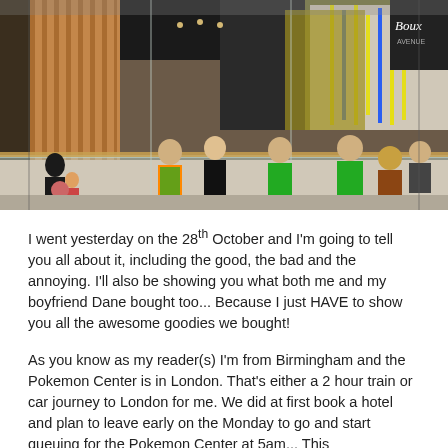[Figure (photo): Interior of a shopping mall with people including security/stewards in high-visibility jackets. A store with neon yellow/blue lighting is visible in the center background. Signs for 'Boux' and 'Yoo!' are visible on the right. Glass barriers are visible in the foreground.]
I went yesterday on the 28th October and I'm going to tell you all about it, including the good, the bad and the annoying. I'll also be showing you what both me and my boyfriend Dane bought too... Because I just HAVE to show you all the awesome goodies we bought!
As you know as my reader(s) I'm from Birmingham and the Pokemon Center is in London. That's either a 2 hour train or car journey to London for me. We did at first book a hotel and plan to leave early on the Monday to go and start queuing for the Pokemon Center at 5am... This